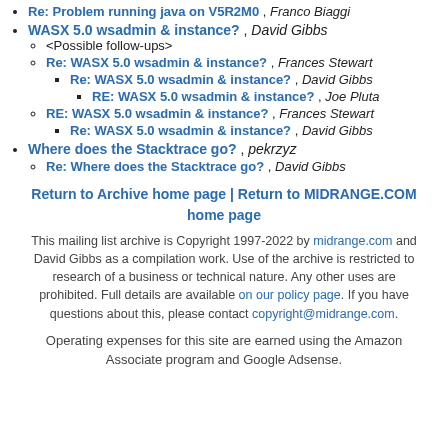Re: Problem running java on V5R2M0 , Franco Biaggi
WASX 5.0 wsadmin & instance? , David Gibbs
<Possible follow-ups>
Re: WASX 5.0 wsadmin & instance? , Frances Stewart
Re: WASX 5.0 wsadmin & instance? , David Gibbs
RE: WASX 5.0 wsadmin & instance? , Joe Pluta
RE: WASX 5.0 wsadmin & instance? , Frances Stewart
Re: WASX 5.0 wsadmin & instance? , David Gibbs
Where does the Stacktrace go? , pekrzyz
Re: Where does the Stacktrace go? , David Gibbs
Return to Archive home page | Return to MIDRANGE.COM home page
This mailing list archive is Copyright 1997-2022 by midrange.com and David Gibbs as a compilation work. Use of the archive is restricted to research of a business or technical nature. Any other uses are prohibited. Full details are available on our policy page. If you have questions about this, please contact copyright@midrange.com.
Operating expenses for this site are earned using the Amazon Associate program and Google Adsense.